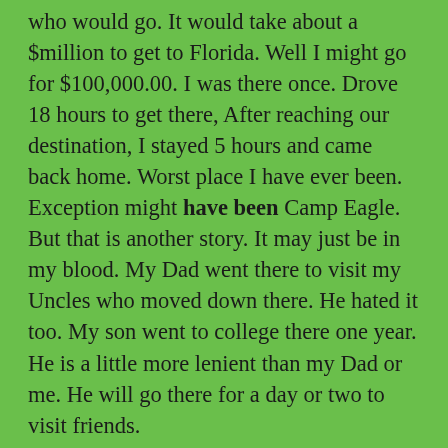who would go.  It would take about a $million to get to Florida.  Well I might go for $100,000.00.  I was there once.  Drove 18 hours to get there,  After reaching our destination, I stayed 5 hours and came back home.  Worst place I have ever been.  Exception might have been Camp Eagle.  But that is another story.  It may just be in my blood.  My Dad went there to visit my Uncles who moved down there.  He hated it too.  My son went to college there one year.  He is a little more lenient than my Dad or me.  He will go there for a day or two to visit friends.
But back to the rise in costs for Disney World.  Now it  isn't just Disney World,  it seems most